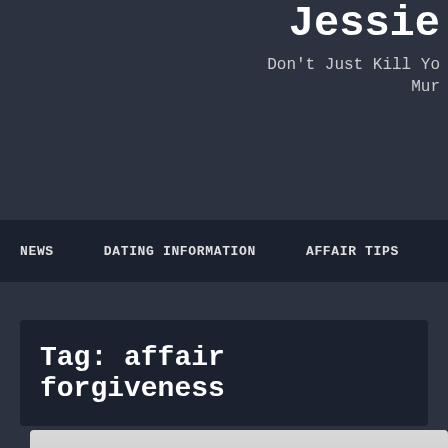Jessie
Don't Just Kill Yo
Mur
NEWS   DATING INFORMATION   AFFAIR TIPS
Tag: affair forgiveness
[Figure (photo): Photo of two people, a man and a woman, cropped to show their heads and upper bodies]